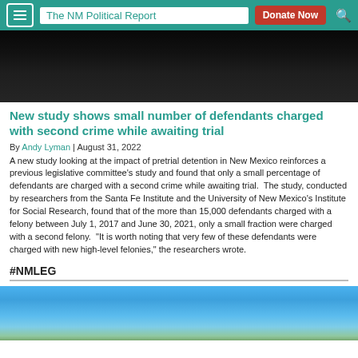The NM Political Report | Donate Now
[Figure (photo): Dark photo, appears to be an interior scene with dark lighting]
New study shows small number of defendants charged with second crime while awaiting trial
By Andy Lyman | August 31, 2022
A new study looking at the impact of pretrial detention in New Mexico reinforces a previous legislative committee's study and found that only a small percentage of defendants are charged with a second crime while awaiting trial.  The study, conducted by researchers from the Santa Fe Institute and the University of New Mexico's Institute for Social Research, found that of the more than 15,000 defendants charged with a felony between July 1, 2017 and June 30, 2021, only a small fraction were charged with a second felony.  "It is worth noting that very few of these defendants were charged with new high-level felonies," the researchers wrote.
#NMLEG
[Figure (photo): Blue sky with clouds photo]